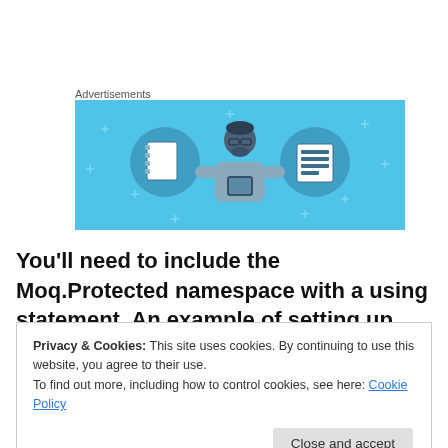Advertisements
[Figure (illustration): Advertisement banner with light blue background showing a cartoon person holding a phone, flanked by two circular icons — one with a notebook/journal and one with a lined document/list. Small plus signs scattered in background.]
You'll need to include the Moq.Protected namespace with a using statement. An example of setting up our
Privacy & Cookies: This site uses cookies. By continuing to use this website, you agree to their use.
To find out more, including how to control cookies, see here: Cookie Policy
Close and accept